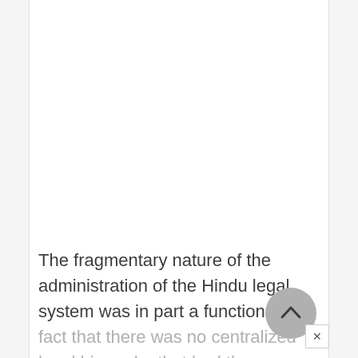The fragmentary nature of the administration of the Hindu legal system was in part a function of the fact that there was no centralized legal hierarchy that had the capacity to...